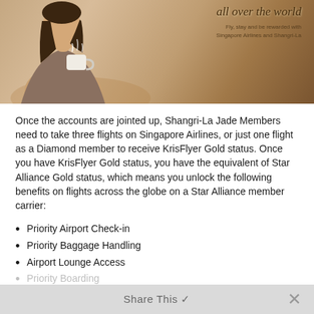[Figure (photo): Woman holding a steaming cup of tea or coffee, warm tones. Overlay text reads 'all over the world' and 'Fly, stay and be rewarded with Singapore Airlines and Shangri-La']
Once the accounts are jointed up, Shangri-La Jade Members need to take three flights on Singapore Airlines, or just one flight as a Diamond member to receive KrisFlyer Gold status. Once you have KrisFlyer Gold status, you have the equivalent of Star Alliance Gold status, which means you unlock the following benefits on flights across the globe on a Star Alliance member carrier:
Priority Airport Check-in
Priority Baggage Handling
Airport Lounge Access
Priority Boarding
Share This ✓